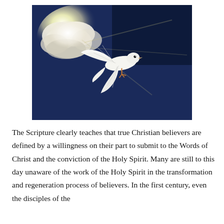[Figure (photo): A white dove in flight against a dramatic dark blue sky with bright sunlit clouds in the upper left, evoking a spiritual or religious theme.]
The Scripture clearly teaches that true Christian believers are defined by a willingness on their part to submit to the Words of Christ and the conviction of the Holy Spirit. Many are still to this day unaware of the work of the Holy Spirit in the transformation and regeneration process of believers. In the first century, even the disciples of the